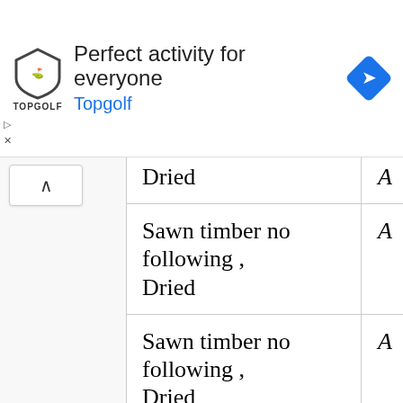[Figure (screenshot): Advertisement banner for Topgolf: logo with shield shape and 'TOPGOLF' text, headline 'Perfect activity for everyone', subtext 'Topgolf' in blue, blue diamond navigation icon on right. Below are play/skip controls.]
| Dried | A |
| Sawn timber no following ,
Dried | A |
| Sawn timber no following ,
Dried | A |
| Sawn timber no following ,
Dried | A |
| Sawn timber no following ,
Dried | A |
| Sawn timber no following ,
Dried | A |